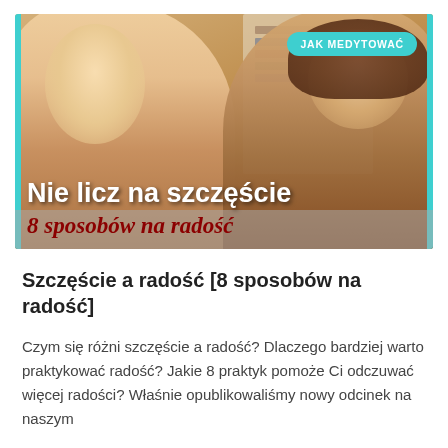[Figure (photo): A video thumbnail showing two smiling people (a young man with red hair on the left, a young woman with curly brown hair on the right) in front of a bookshelf. The thumbnail has a teal border on left and right sides, a teal badge in the top right reading 'JAK MEDYTOWAĆ', text overlay at the bottom reading 'Nie licz na szczęście' in white bold, and '8 sposobów na radość' in dark red italic on a gray semi-transparent background.]
Szczęście a radość [8 sposobów na radość]
Czym się różni szczęście a radość? Dlaczego bardziej warto praktykować radość? Jakie 8 praktyk pomoże Ci odczuwać więcej radości? Właśnie opublikowaliśmy nowy odcinek na naszym